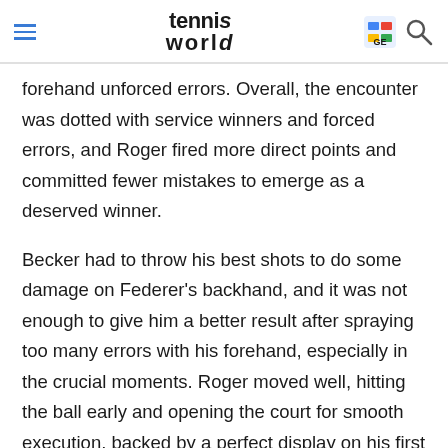tennis world
forehand unforced errors. Overall, the encounter was dotted with service winners and forced errors, and Roger fired more direct points and committed fewer mistakes to emerge as a deserved winner.
Becker had to throw his best shots to do some damage on Federer's backhand, and it was not enough to give him a better result after spraying too many errors with his forehand, especially in the crucial moments. Roger moved well, hitting the ball early and opening the court for smooth execution, backed by a perfect display on his first serve and in service games in general.